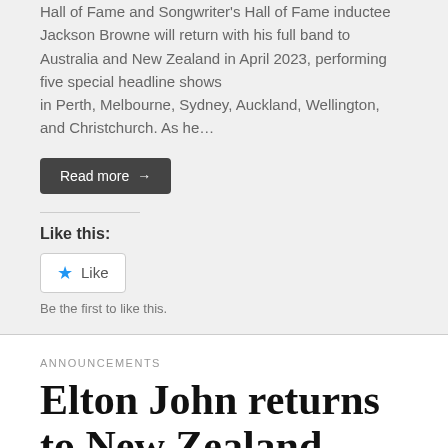Hall of Fame and Songwriter's Hall of Fame inductee Jackson Browne will return with his full band to Australia and New Zealand in April 2023, performing five special headline shows in Perth, Melbourne, Sydney, Auckland, Wellington, and Christchurch. As he…
Read more →
Like this:
★ Like
Be the first to like this.
ANNOUNCEMENTS
Elton John returns to New Zealand, adds Christchurch show in